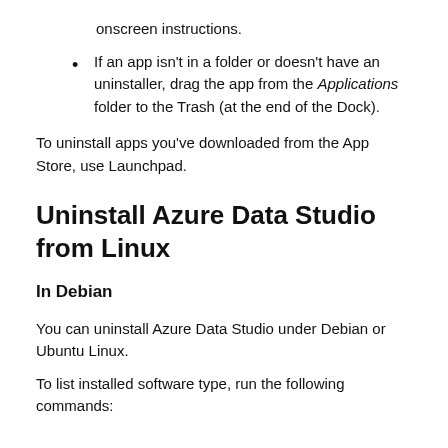onscreen instructions.
If an app isn't in a folder or doesn't have an uninstaller, drag the app from the Applications folder to the Trash (at the end of the Dock).
To uninstall apps you've downloaded from the App Store, use Launchpad.
Uninstall Azure Data Studio from Linux
In Debian
You can uninstall Azure Data Studio under Debian or Ubuntu Linux.
To list installed software type, run the following commands: